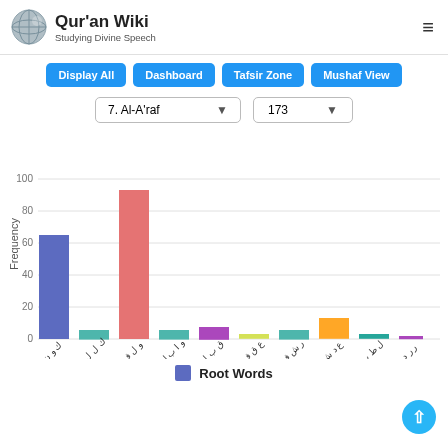Qur'an Wiki — Studying Divine Speech
[Figure (screenshot): Navigation buttons: Display All, Dashboard, Tafsir Zone, Mushaf View]
[Figure (screenshot): Dropdown selectors: 7. Al-A'raf and 173]
[Figure (bar-chart): Frequency of Root Words]
Root Words